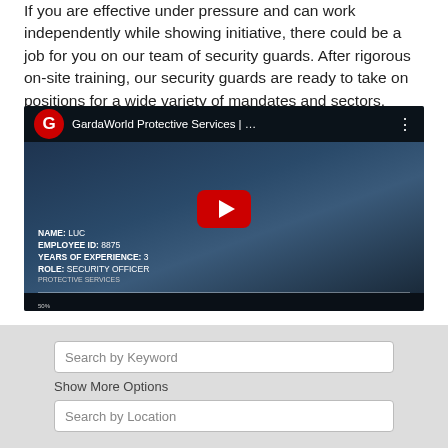If you are effective under pressure and can work independently while showing initiative, there could be a job for you on our team of security guards. After rigorous on-site training, our security guards are ready to take on positions for a wide variety of mandates and sectors, whether full-time or part-time.
[Figure (screenshot): YouTube video thumbnail for GardaWorld Protective Services showing a security officer named Luc (Employee ID: 8875, 3 years of experience, Role: Security Officer, Protective Services) with a red YouTube play button overlay.]
Search by Keyword
Show More Options
Search by Location